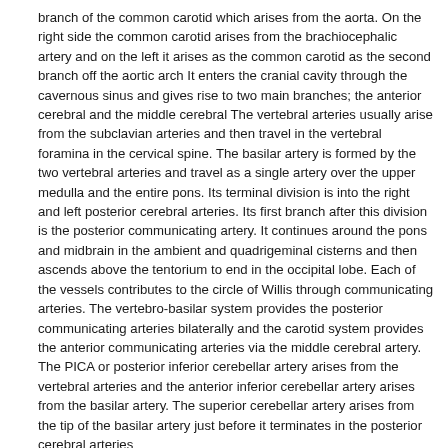branch of the common carotid which arises from the aorta. On the right side the common carotid arises from the brachiocephalic artery and on the left it arises as the common carotid as the second branch off the aortic arch It enters the cranial cavity through the cavernous sinus and gives rise to two main branches; the anterior cerebral and the middle cerebral The vertebral arteries usually arise from the subclavian arteries and then travel in the vertebral foramina in the cervical spine. The basilar artery is formed by the two vertebral arteries and travel as a single artery over the upper medulla and the entire pons. Its terminal division is into the right and left posterior cerebral arteries. Its first branch after this division is the posterior communicating artery. It continues around the pons and midbrain in the ambient and quadrigeminal cisterns and then ascends above the tentorium to end in the occipital lobe. Each of the vessels contributes to the circle of Willis through communicating arteries. The vertebro-basilar system provides the posterior communicating arteries bilaterally and the carotid system provides the anterior communicating arteries via the middle cerebral artery. The PICA or posterior inferior cerebellar artery arises from the vertebral arteries and the anterior inferior cerebellar artery arises from the basilar artery. The superior cerebellar artery arises from the tip of the basilar artery just before it terminates in the posterior cerebral arteries